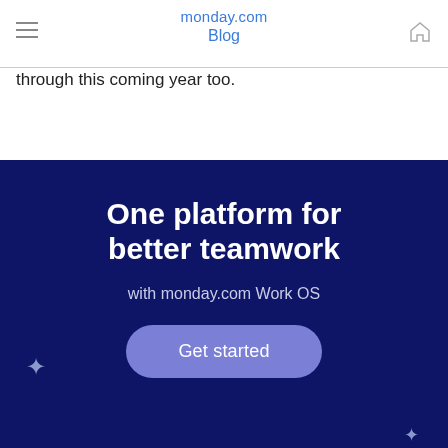monday.com Blog
through this coming year too.
[Figure (infographic): Dark navy promotional banner for monday.com Work OS with headline 'One platform for better teamwork', subheading 'with monday.com Work OS', sparkle/star decorations, and a purple 'Get started' CTA button.]